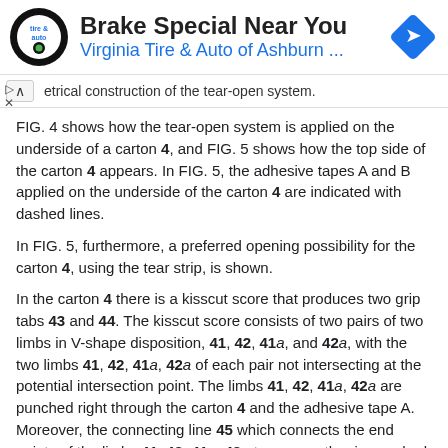[Figure (logo): Advertisement banner for Virginia Tire & Auto of Ashburn with circular logo, title 'Brake Special Near You', subtitle 'Virginia Tire & Auto of Ashburn ...', and a blue diamond navigation icon.]
etrical construction of the tear-open system.
FIG. 4 shows how the tear-open system is applied on the underside of a carton 4, and FIG. 5 shows how the top side of the carton 4 appears. In FIG. 5, the adhesive tapes A and B applied on the underside of the carton 4 are indicated with dashed lines.
In FIG. 5, furthermore, a preferred opening possibility for the carton 4, using the tear strip, is shown.
In the carton 4 there is a kisscut score that produces two grip tabs 43 and 44. The kisscut score consists of two pairs of two limbs in V-shape disposition, 41, 42, 41a, and 42a, with the two limbs 41, 42, 41a, 42a of each pair not intersecting at the potential intersection point. The limbs 41, 42, 41a, 42a are punched right through the carton 4 and the adhesive tape A. Moreover, the connecting line 45 which connects the end points of the limbs 41, 42, 41a, 42a to one another is punched right through the carton 4, the adhesive tape A, and the adhesive tape B.
To open the carton 4, one of the two grip tabs 43, 44, the grip tab 43 for